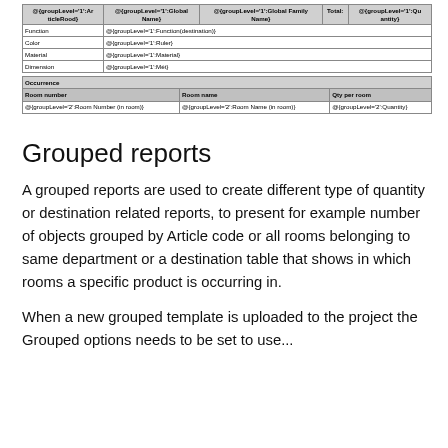| @{groupLevel='1':ArticleRood} | @{groupLevel='1':Global Name} | @{groupLevel='1':Global Family Name} | Total: | @{groupLevel='1':Quantity} |
| --- | --- | --- | --- | --- |
| Function | @{groupLevel='1':Function(destination)} |
| Color | @{groupLevel='1':Ruler} |
| Material | @{groupLevel='1':Material} |
| Dimension | @{groupLevel='1':Mét} |
| Occurrence |  |  |
| --- | --- | --- |
| Room number | Room name | Qty per room |
| @{groupLevel='2':Room Number (in room)} | @{groupLevel='2':Room Name (in room)} | @{groupLevel='2':Quantity} |
Grouped reports
A grouped reports are used to create different type of quantity or destination related reports, to present for example number of objects grouped by Article code or all rooms belonging to same department or a destination table that shows in which rooms a specific product is occurring in.
When a new grouped template is uploaded to the project the Grouped options needs to be set to use...